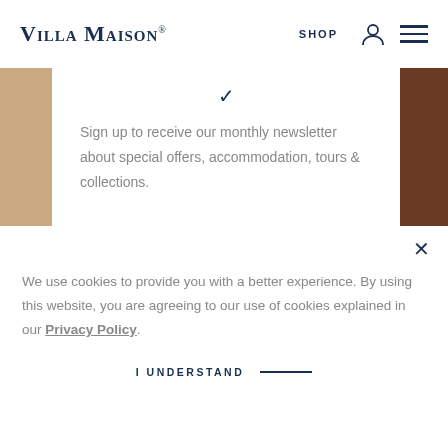Villa Maison
[Figure (screenshot): Background image with beige/tan tones on left and dark brown on right, part of a newsletter signup overlay]
Sign up to receive our monthly newsletter about special offers, accommodation, tours & collections.
We use cookies to provide you with a better experience. By using this website, you are agreeing to our use of cookies explained in our Privacy Policy.
I UNDERSTAND